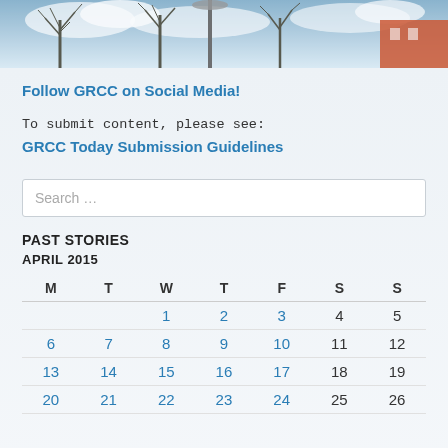[Figure (photo): Winter outdoor campus photo with bare trees against a cloudy sky, serving as a banner image]
Follow GRCC on Social Media!
To submit content, please see:
GRCC Today Submission Guidelines
Search …
PAST STORIES
APRIL 2015
| M | T | W | T | F | S | S |
| --- | --- | --- | --- | --- | --- | --- |
|  |  | 1 | 2 | 3 | 4 | 5 |
| 6 | 7 | 8 | 9 | 10 | 11 | 12 |
| 13 | 14 | 15 | 16 | 17 | 18 | 19 |
| 20 | 21 | 22 | 23 | 24 | 25 | 26 |